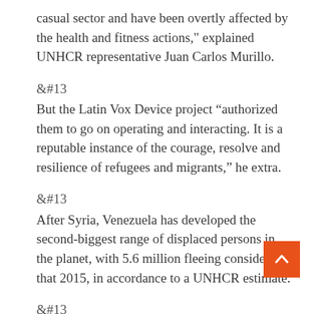casual sector and have been overtly affected by the health and fitness actions," explained UNHCR representative Juan Carlos Murillo.
&#13
But the Latin Vox Device project “authorized them to go on operating and interacting. It is a reputable instance of the courage, resolve and resilience of refugees and migrants,” he extra.
&#13
After Syria, Venezuela has developed the second-biggest range of displaced persons in the planet, with 5.6 million fleeing considering that 2015, in accordance to a UNHCR estimate.
&#13